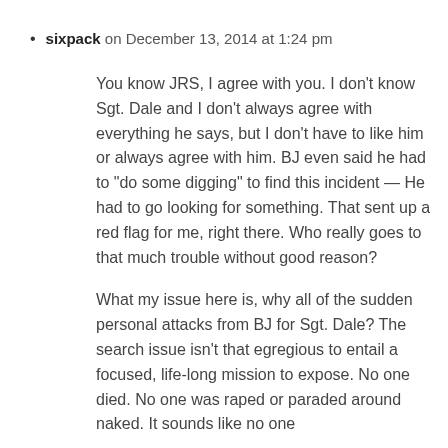sixpack on December 13, 2014 at 1:24 pm
You know JRS, I agree with you. I don’t know Sgt. Dale and I don’t always agree with everything he says, but I don’t have to like him or always agree with him. BJ even said he had to “do some digging” to find this incident — He had to go looking for something. That sent up a red flag for me, right there. Who really goes to that much trouble without good reason?
What my issue here is, why all of the sudden personal attacks from BJ for Sgt. Dale? The search issue isn’t that egregious to entail a focused, life-long mission to expose. No one died. No one was raped or paraded around naked. It sounds like no one